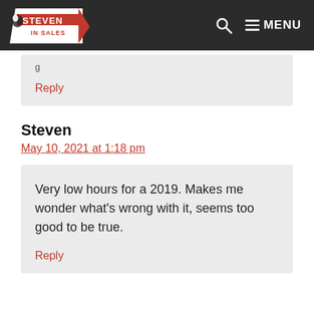Steven In Sales — MENU
Reply
Steven
May 10, 2021 at 1:18 pm
Very low hours for a 2019. Makes me wonder what's wrong with it, seems too good to be true.
Reply